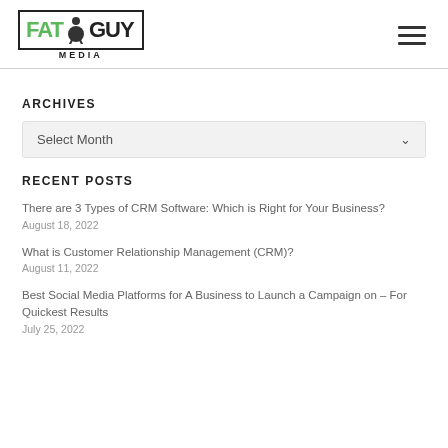[Figure (logo): Fat Guy Media logo with green FAT text and dark GUY text inside a bordered rectangle, with a round body character icon]
ARCHIVES
Select Month
RECENT POSTS
There are 3 Types of CRM Software: Which is Right for Your Business?
August 18, 2022
What is Customer Relationship Management (CRM)?
August 11, 2022
Best Social Media Platforms for A Business to Launch a Campaign on – For Quickest Results
July 25, 2022